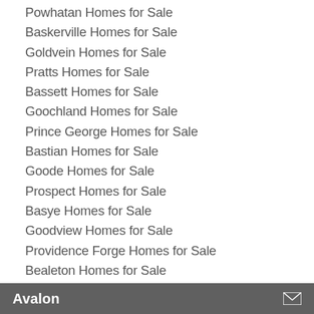Powhatan Homes for Sale
Baskerville Homes for Sale
Goldvein Homes for Sale
Pratts Homes for Sale
Bassett Homes for Sale
Goochland Homes for Sale
Prince George Homes for Sale
Bastian Homes for Sale
Goode Homes for Sale
Prospect Homes for Sale
Basye Homes for Sale
Goodview Homes for Sale
Providence Forge Homes for Sale
Bealeton Homes for Sale
Gordonsville Homes for Sale
Pulaski Homes for Sale
Beaverdam Homes for Sale
Gore Homes for Sale
Avalon